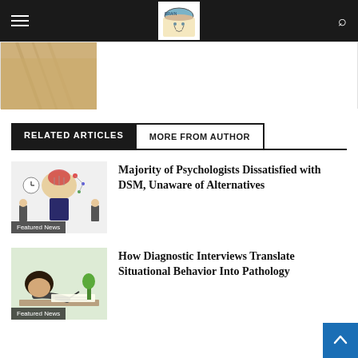Navigation bar with hamburger menu, logo, and search icon
[Figure (photo): Partial article thumbnail showing a tan/beige sweater or garment, cropped]
RELATED ARTICLES | MORE FROM AUTHOR
[Figure (illustration): Illustration showing psychologists and a brain diagram with figures around it, labeled Featured News]
Majority of Psychologists Dissatisfied with DSM, Unaware of Alternatives
[Figure (photo): Photo of a person writing at a desk, labeled Featured News]
How Diagnostic Interviews Translate Situational Behavior Into Pathology